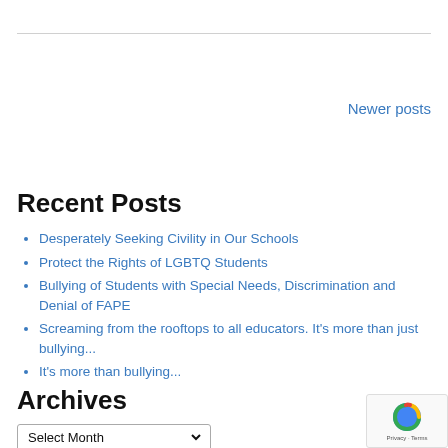Newer posts
Recent Posts
Desperately Seeking Civility in Our Schools
Protect the Rights of LGBTQ Students
Bullying of Students with Special Needs, Discrimination and Denial of FAPE
Screaming from the rooftops to all educators. It's more than just bullying...
It's more than bullying...
Archives
Select Month